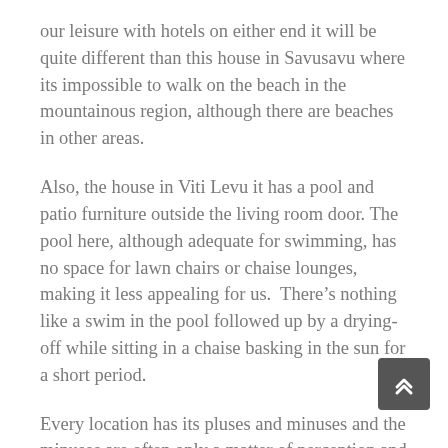our leisure with hotels on either end it will be quite different than this house in Savusavu where its impossible to walk on the beach in the mountainous region, although there are beaches in other areas.
Also, the house in Viti Levu it has a pool and patio furniture outside the living room door. The pool here, although adequate for swimming, has no space for lawn chairs or chaise lounges, making it less appealing for us.  There’s nothing like a swim in the pool followed up by a drying-off while sitting in a chaise basking in the sun for a short period.
Every location has its pluses and minuses and the minuses are often only a matter of perception and lifestyle. Undoubtedly, we have peculiarities and preferences that may not matter to the next visitor.  In essence, this house in